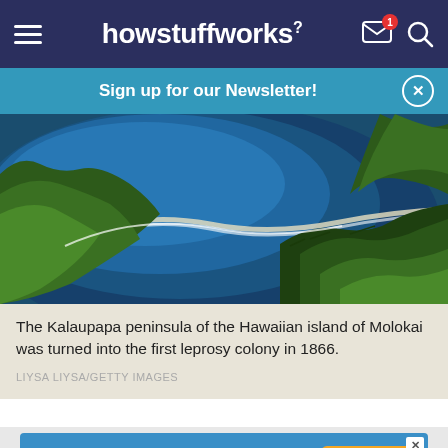howstuffworks
Sign up for our Newsletter!
[Figure (photo): Aerial view of the Kalaupapa peninsula on the Hawaiian island of Molokai, showing deep blue ocean curving around a green coastline with steep cliffs and tropical vegetation in the foreground.]
The Kalaupapa peninsula of the Hawaiian island of Molokai was turned into the first leprosy colony in 1866.
LIYSA LIYSA/GETTY IMAGES
Get the HowStuffWorks Newsletter!
Sign Up